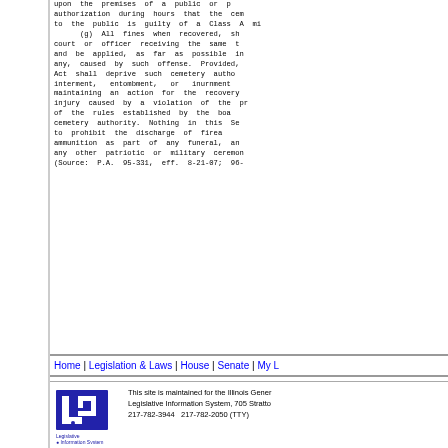upon the premises of a public or p authorization during hours that the cem to the public is guilty of a Class A mi
    (g) All fines when recovered, sh court or officer receiving the same t and be applied, as far as possible in any, caused by such offense. Provided, Act shall deprive such cemetery autho interment, entombment, or inurnment maintaining an action for the recovery injury caused by a violation of the pr of the rules established by the boa cemetery authority. Nothing in this Se to prohibit the discharge of firea ammunition as part of any funeral, an any other patriotic or military ceremon (Source: P.A. 95-331, eff. 8-21-07; 96-
Home | Legislation & Laws | House | Senate | My L
This site is maintained for the Illinois Gener Legislative Information System, 705 Stratto 217-782-3944   217-782-2050 (TTY)